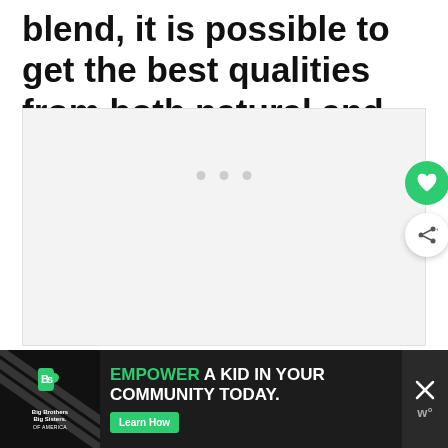blend, it is possible to get the best qualities from both natural and synthetic materials.
[Figure (photo): Large image placeholder area with three small dots indicating a loading or carousel state]
[Figure (infographic): Advertisement banner at bottom: Big Brothers Big Sisters of America logo on left, green 'EMPOWER A KID IN YOUR COMMUNITY TODAY.' text with 'Learn How' green button, and close X button on right]